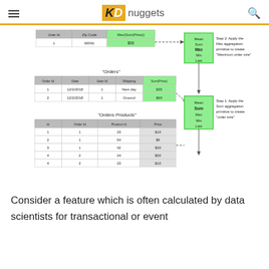KD nuggets
[Figure (infographic): Diagram showing three related database tables (a result table with User Id/Zip Code/Max(Sum(Price)), an Orders table, and an Orders Products table) connected by arrows to aggregation boxes (Mean/Sum/Max/Min/Last) with step annotations explaining Step 1: Apply Sum aggregation to create 'order size' and Step 2: Apply Max aggregation to create 'Maximum order size'.]
Consider a feature which is often calculated by data scientists for transactional or event